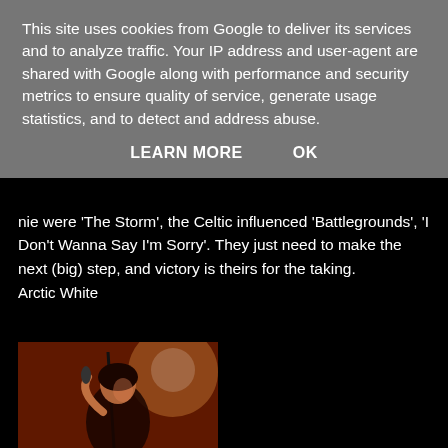This site uses cookies from Google to deliver its services and to analyze traffic. Your IP address and user-agent are shared with Google along with performance and security metrics to ensure quality of service, generate usage statistics, and to detect and address abuse.
LEARN MORE   OK
nie were 'The Storm', the Celtic influenced 'Battlegrounds', 'I Don't Wanna Say I'm Sorry'. They just need to make the next (big) step, and victory is theirs for the taking.
Arctic White
[Figure (photo): Concert photo of a singer performing on stage, lit with red/orange lighting, holding a microphone, wearing dark clothing and bracelets.]
Headliner for the Thursday night was Joe Lynn Turner. I make no bones that Rainbow are my all-time favourite band, and JLT is a big part of